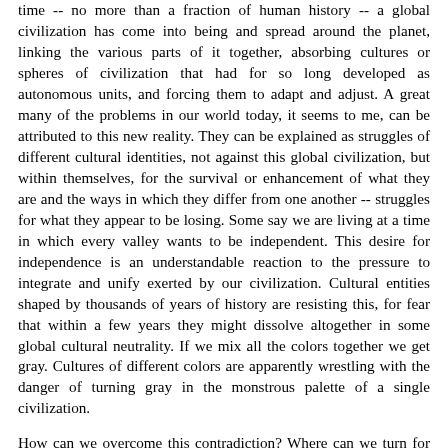time -- no more than a fraction of human history -- a global civilization has come into being and spread around the planet, linking the various parts of it together, absorbing cultures or spheres of civilization that had for so long developed as autonomous units, and forcing them to adapt and adjust. A great many of the problems in our world today, it seems to me, can be attributed to this new reality. They can be explained as struggles of different cultural identities, not against this global civilization, but within themselves, for the survival or enhancement of what they are and the ways in which they differ from one another -- struggles for what they appear to be losing. Some say we are living at a time in which every valley wants to be independent. This desire for independence is an understandable reaction to the pressure to integrate and unify exerted by our civilization. Cultural entities shaped by thousands of years of history are resisting this, for fear that within a few years they might dissolve altogether in some global cultural neutrality. If we mix all the colors together we get gray. Cultures of different colors are apparently wrestling with the danger of turning gray in the monstrous palette of a single civilization.
How can we overcome this contradiction? Where can we turn for hope? The solution certainly does not lie in blindly putting our faith in the essentially atheistic technological civilization of today. We should not rely on the assumption that this civilization,